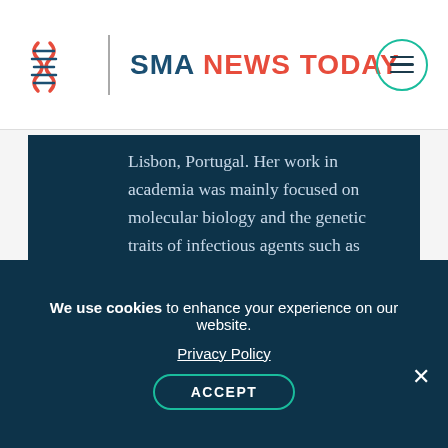SMA NEWS TODAY
Lisbon, Portugal. Her work in academia was mainly focused on molecular biology and the genetic traits of infectious agents such as viruses and parasites. Patrícia earned several travel awards to present her work at international scientific meetings. She is a published author of several peer-reviewed science articles.
We use cookies to enhance your experience on our website. Privacy Policy ACCEPT